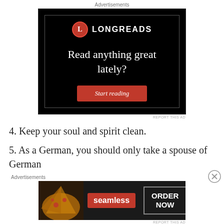Advertisements
[Figure (illustration): Longreads advertisement banner with black background, red circular L logo, brand name LONGREADS, tagline 'Read anything great lately?' and a red 'Start reading' button]
REPORT THIS AD
4. Keep your soul and spirit clean.
5. As a German, you should only take a spouse of German
Advertisements
[Figure (illustration): Seamless food delivery advertisement with pizza image on left, red Seamless logo in center, and ORDER NOW text in white box on dark background]